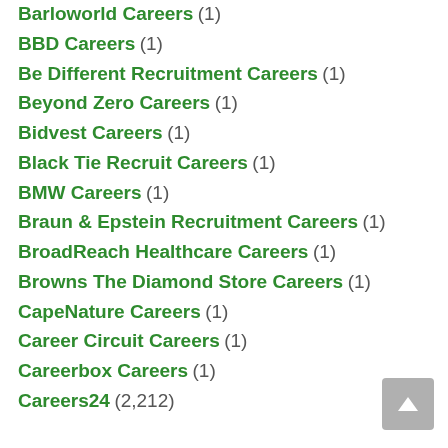Barloworld Careers (1)
BBD Careers (1)
Be Different Recruitment Careers (1)
Beyond Zero Careers (1)
Bidvest Careers (1)
Black Tie Recruit Careers (1)
BMW Careers (1)
Braun & Epstein Recruitment Careers (1)
BroadReach Healthcare Careers (1)
Browns The Diamond Store Careers (1)
CapeNature Careers (1)
Career Circuit Careers (1)
Careerbox Careers (1)
Careers24 (2,212)